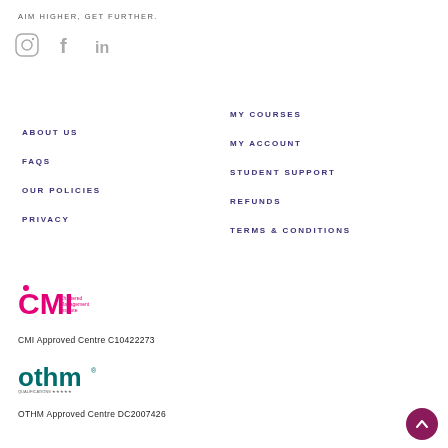AIM HIGHER, GET FURTHER.
[Figure (logo): Social media icons: Instagram, Facebook, LinkedIn]
ABOUT US
FAQS
OUR POLICIES
PRIVACY
MY COURSES
MY ACCOUNT
STUDENT SUPPORT
REFUNDS
TERMS & CONDITIONS
[Figure (logo): CMI Chartered Management Institute logo]
CMI Approved Centre C10422273
[Figure (logo): OTHM Qualifications logo]
OTHM Approved Centre DC2007426